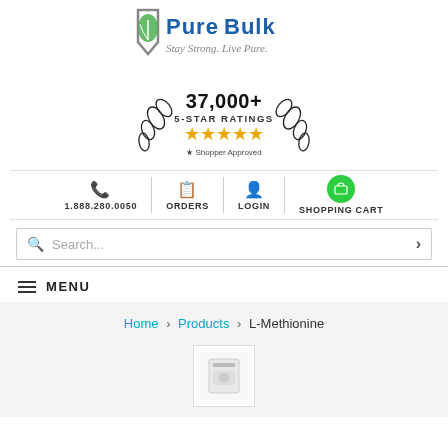[Figure (logo): PureBulk logo with green leaf shield and tagline 'Stay Strong. Live Pure.']
[Figure (infographic): 37,000+ 5-Star Ratings badge with gold stars and Shopper Approved logo]
1.888.280.0050   ORDERS   LOGIN   SHOPPING CART
Search...
MENU
Home > Products > L-Methionine
[Figure (photo): Small product thumbnail image]